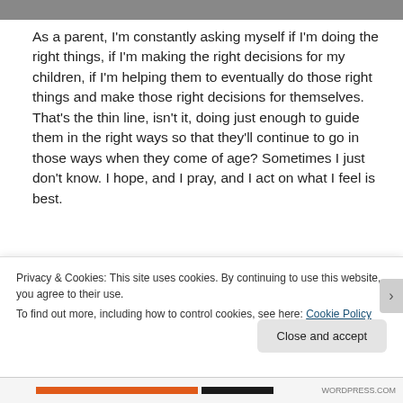[Figure (photo): Partial image strip at top of page, dark/grey background]
As a parent, I'm constantly asking myself if I'm doing the right things, if I'm making the right decisions for my children, if I'm helping them to eventually do those right things and make those right decisions for themselves. That's the thin line, isn't it, doing just enough to guide them in the right ways so that they'll continue to go in those ways when they come of age? Sometimes I just don't know. I hope, and I pray, and I act on what I feel is best.
Isn't that all we can do, really?
Privacy & Cookies: This site uses cookies. By continuing to use this website, you agree to their use.
To find out more, including how to control cookies, see here: Cookie Policy